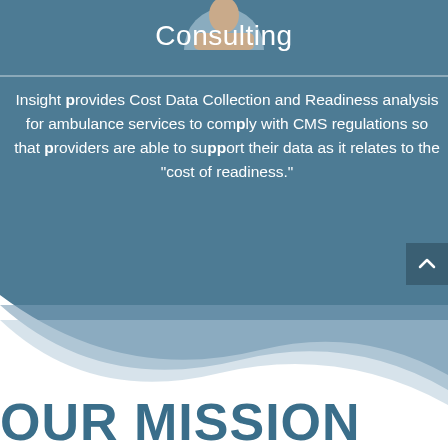Consulting
Insight provides Cost Data Collection and Readiness analysis for ambulance services to comply with CMS regulations so that providers are able to support their data as it relates to the “cost of readiness.”
OUR MISSION